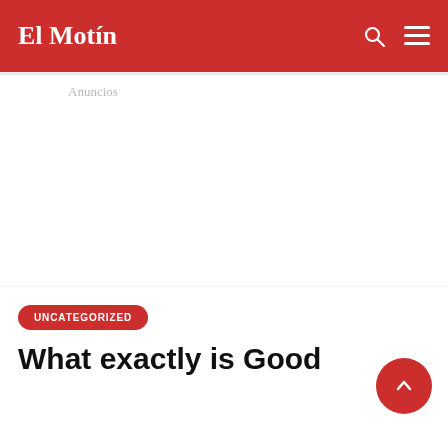El Motín
Anuncios
UNCATEGORIZED
What exactly is Good